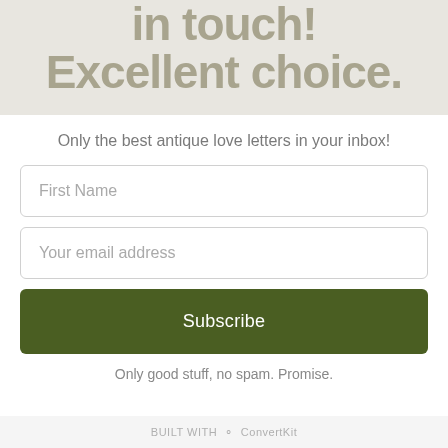in touch! Excellent choice.
Only the best antique love letters in your inbox!
First Name
Your email address
Subscribe
Only good stuff, no spam. Promise.
BUILT WITH ConvertKit